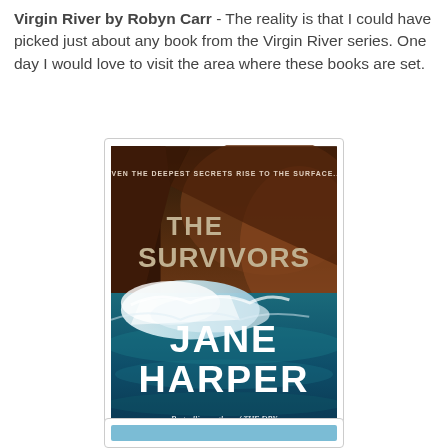Virgin River by Robyn Carr - The reality is that I could have picked just about any book from the Virgin River series. One day I would love to visit the area where these books are set.
[Figure (illustration): Book cover of 'The Survivors' by Jane Harper. Rocky sea cliff background with large ocean waves. Text: 'EVEN THE DEEPEST SECRETS RISE TO THE SURFACE...' at top. Title 'THE SURVIVORS' in large text. Author name 'JANE HARPER' in large white letters at bottom. Subtitle 'Bestselling author of THE DRY'.]
[Figure (illustration): Partial view of another book cover with blue/teal color at bottom of page, partially cut off.]